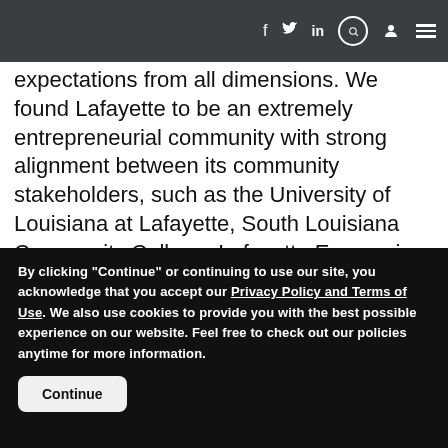Navigation bar with social/search icons: f (Facebook), bird (Twitter), in (LinkedIn), search (circle), user profile, hamburger menu
expectations from all dimensions. We found Lafayette to be an extremely entrepreneurial community with strong alignment between its community stakeholders, such as the University of Louisiana at Lafayette, South Louisiana Community College, Lafayette Economic Development Authority and others. The community leaders clearly understood Enquero's vision and its needs as a growth company. We are extremely honored to be joining this community, and we look forward to playing a role in its future growth."
By clicking "Continue" or continuing to use our site, you acknowledge that you accept our Privacy Policy and Terms of Use. We also use cookies to provide you with the best possible experience on our website. Feel free to check out our policies anytime for more information.
Continue